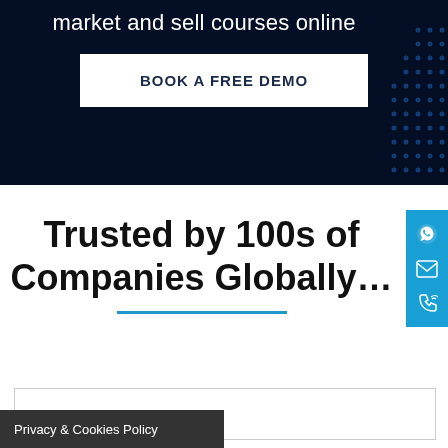market and sell courses online
BOOK A FREE DEMO
Trusted by 100s of Companies Globally…
Privacy & Cookies Policy